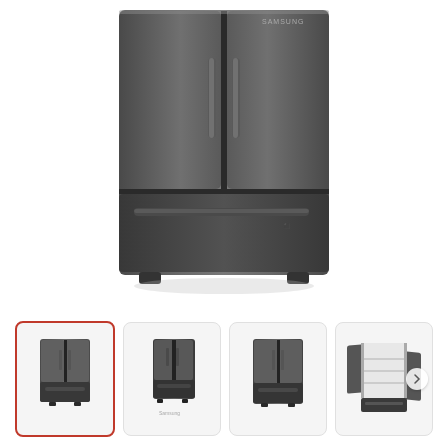[Figure (photo): Samsung French door refrigerator in fingerprint-resistant black stainless steel, front view showing two upper doors and a bottom freezer drawer with handle]
[Figure (photo): Thumbnail 1 (selected): front view of Samsung black stainless French door refrigerator]
[Figure (photo): Thumbnail 2: side-angle view of Samsung black stainless French door refrigerator]
[Figure (photo): Thumbnail 3: front view of Samsung black stainless French door refrigerator, slightly different angle]
[Figure (photo): Thumbnail 4: Samsung refrigerator with doors open showing interior shelves and compartments, with a next arrow button]